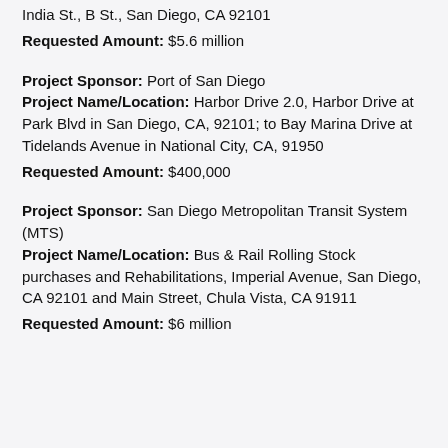India St., B St., San Diego, CA 92101
Requested Amount: $5.6 million
Project Sponsor: Port of San Diego
Project Name/Location: Harbor Drive 2.0, Harbor Drive at Park Blvd in San Diego, CA, 92101; to Bay Marina Drive at Tidelands Avenue in National City, CA, 91950
Requested Amount: $400,000
Project Sponsor: San Diego Metropolitan Transit System (MTS)
Project Name/Location: Bus & Rail Rolling Stock purchases and Rehabilitations, Imperial Avenue, San Diego, CA 92101 and Main Street, Chula Vista, CA 91911
Requested Amount: $6 million